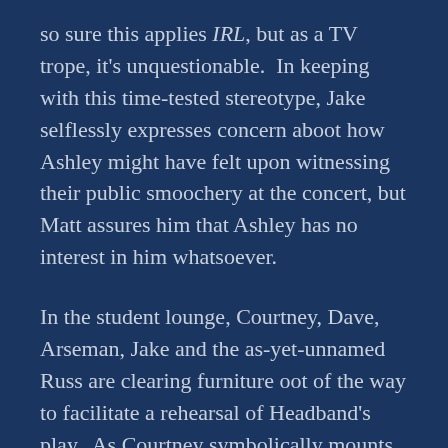so sure this applies IRL, but as a TV trope, it's unquestionable.  In keeping with this time-tested stereotype, Jake selflessly expresses concern aboot how Ashley might have felt upon witnessing their public smoochery at the concert, but Matt assures him that Ashley has no interest in him whatsoever.
In the student lounge, Courtney, Dave, Arseman, Jake and the as-yet-unnamed Russ are clearing furniture oot of the way to facilitate a rehearsal of Headband's play.  As Courtney symbolically mounts the director's chair, Arseman and Dave proceed to compete over who can deliver their ham-fisted dialogue more robotically.  It's a stalemate.  I really don't possess the requisite lexical aplomb to make you understand how torturously bad this is.  If John Binkley consciously set oot to find the